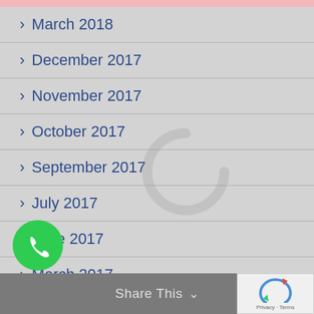> March 2018
> December 2017
> November 2017
> October 2017
> September 2017
> July 2017
> June 2017
> March 2017
> February 2017
> January 2017
Share This